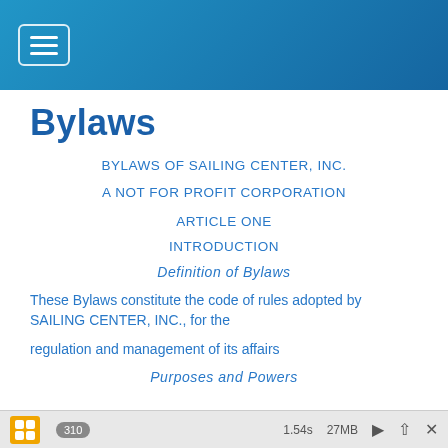Bylaws
BYLAWS OF SAILING CENTER, INC.
A NOT FOR PROFIT CORPORATION
ARTICLE ONE
INTRODUCTION
Definition of Bylaws
These Bylaws constitute the code of rules adopted by SAILING CENTER, INC., for the regulation and management of its affairs
Purposes and Powers
310   1.54s   27MB